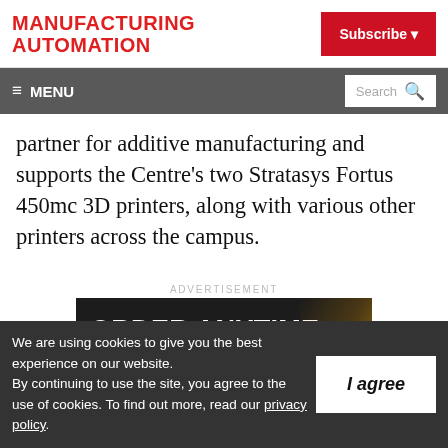[Figure (logo): Manufacturing Automation logo in red bold uppercase text]
[Figure (screenshot): Subscribe button (red background, white text) with dropdown arrow]
≡ MENU  Search
partner for additive manufacturing and supports the Centre's two Stratasys Fortus 450mc 3D printers, along with various other printers across the campus.
ADVERTISEMENT
[Figure (screenshot): Advertisement banner with dark background and 'ORDER ANYTIME.' text in white bold]
We are using cookies to give you the best experience on our website. By continuing to use the site, you agree to the use of cookies. To find out more, read our privacy policy.